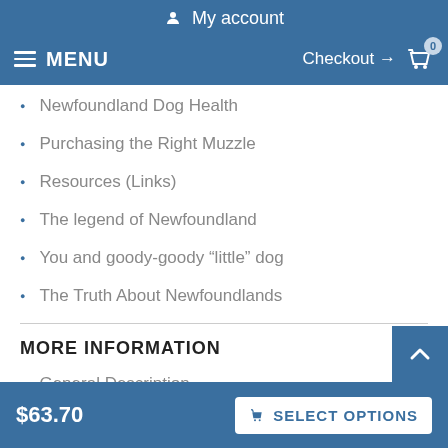My account
MENU  Checkout → 0
Newfoundland Dog Health
Purchasing the Right Muzzle
Resources (Links)
The legend of Newfoundland
You and goody-goody “little” dog
The Truth About Newfoundlands
MORE INFORMATION
General Description
$63.70
SELECT OPTIONS